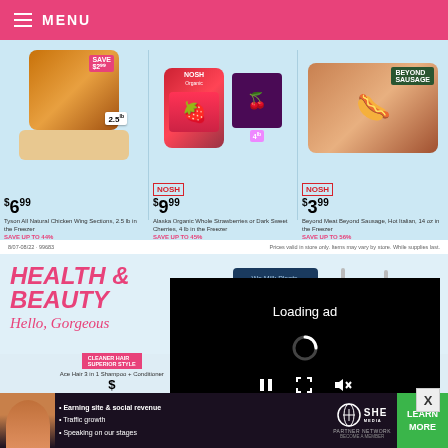MENU
[Figure (photo): Grocery store promotional flyer showing three products: Tyson All Natural Chicken Wing Sections $6.99, Alaska Organic Whole Strawberries or Dark Sweet Cherries $9.99 (NOSH), Beyond Meat Beyond Sausage $3.99 (NOSH). Light blue background with product images.]
Prices valid in store only. Items may vary by store. While supplies last.
[Figure (photo): Health & Beauty section header with OWYN Protein Shake product and purple/pink pump bottles visible. Text reads HEALTH & BEAUTY Hello, Gorgeous in pink and orange italic font.]
[Figure (screenshot): Video ad overlay with black background showing Loading ad text, spinner icon, and media controls (pause, fullscreen, mute).]
[Figure (photo): Bottom of Health & Beauty section showing Ace Hair 3-in-1 Shampoo + Conditioner and Ace Men's Body Spray products with prices partially visible.]
[Figure (advertisement): SHE Partner Network advertisement with woman avatar, bullet points: Earning site & social revenue, Traffic growth, Speaking on our stages. SHE PARTNER NETWORK BECOME A MEMBER logo and LEARN MORE green button.]